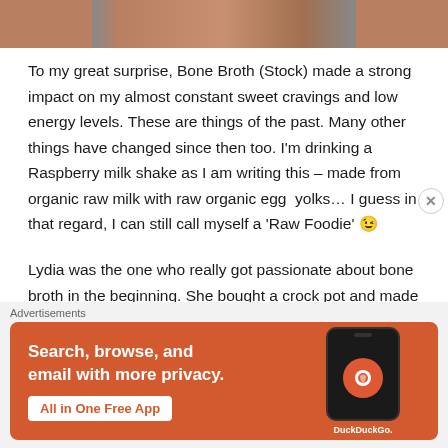[Figure (photo): Partial photo strip at top, cropped image of a person]
To my great surprise, Bone Broth (Stock) made a strong impact on my almost constant sweet cravings and low energy levels. These are things of the past. Many other things have changed since then too. I'm drinking a Raspberry milk shake as I am writing this – made from organic raw milk with raw organic egg  yolks… I guess in that regard, I can still call myself a 'Raw Foodie' 😉
Lydia was the one who really got passionate about bone broth in the beginning. She bought a crock pot and made
Advertisements
[Figure (screenshot): DuckDuckGo advertisement banner with orange background. Text reads: Search, browse, and email with more privacy. All in One Free App. Shows a phone mockup with DuckDuckGo logo.]